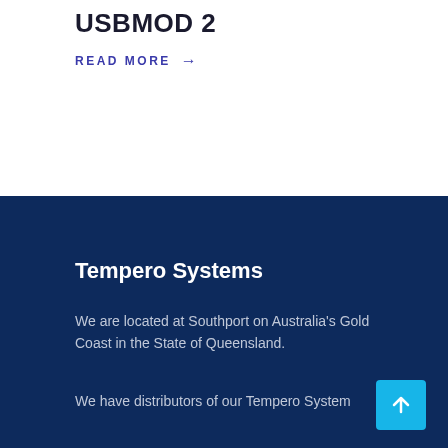USBMOD 2
READ MORE →
Tempero Systems
We are located at Southport on Australia's Gold Coast in the State of Queensland.
We have distributors of our Tempero System